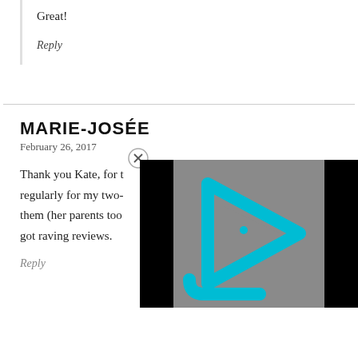Great!
Reply
MARIE-JOSÉE
February 26, 2017
Thank you Kate, for t… regularly for my two-… them (her parents too… got raving reviews.
[Figure (other): Video player overlay with cyan play button logo on gray background with black borders, and a close (x) button in the top-left corner]
Reply